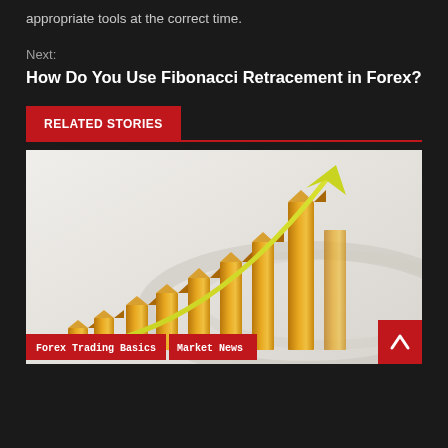appropriate tools at the correct time.
Next:
How Do You Use Fibonacci Retracement in Forex?
RELATED STORIES
[Figure (illustration): 3D golden bar chart with rising bars and a yellow arrow pointing upward, on a light gray gradient background. Tags at the bottom: 'Forex Trading Basics' and 'Market News' in red boxes.]
Forex Trading Basics | Market News